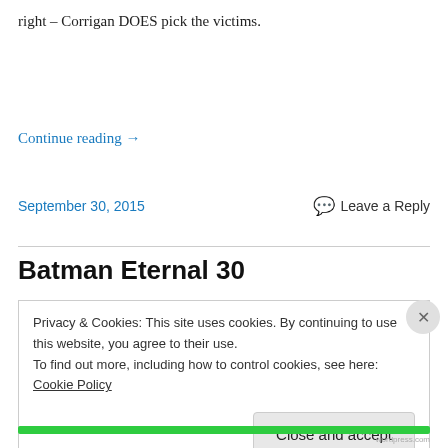right – Corrigan DOES pick the victims.
Continue reading →
September 30, 2015
Leave a Reply
Batman Eternal 30
Privacy & Cookies: This site uses cookies. By continuing to use this website, you agree to their use.
To find out more, including how to control cookies, see here: Cookie Policy
Close and accept